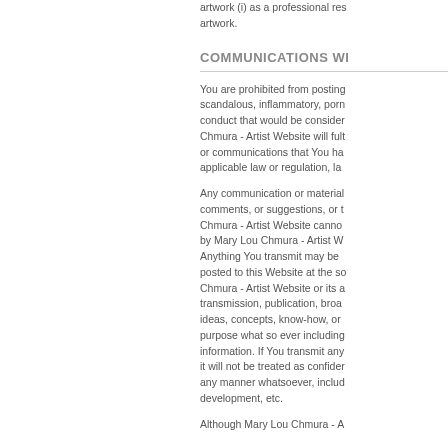artwork (i) as a professional res artwork.
COMMUNICATIONS WI
You are prohibited from posting scandalous, inflammatory, porn conduct that would be consider Chmura - Artist Website will ful or communications that You ha applicable law or regulation, la
Any communication or material comments, or suggestions, or t Chmura - Artist Website cannt by Mary Lou Chmura - Artist W Anything You transmit may be posted to this Website at the s Chmura - Artist Website or its a transmission, publication, broa ideas, concepts, know-how, or purpose what so ever including information. If You transmit any it will not be treated as confide any manner whatsoever, includ development, etc.
Although Mary Lou Chmura - A